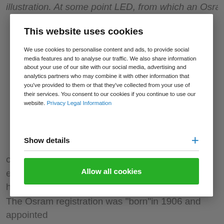illustration. At some point LED, from which an Osram is
This website uses cookies
We use cookies to personalise content and ads, to provide social media features and to analyse our traffic. We also share information about your use of our site with our social media, advertising and analytics partners who may combine it with other information that you've provided to them or that they've collected from your use of their services. You consent to our cookies if you continue to use our website. Privacy Legal Information
Show details
Allow all cookies
of the world today, it is considered the embodiment of light and it was born more than a hundren years ago.
The Osram registration was "born"in 1906 and appointed